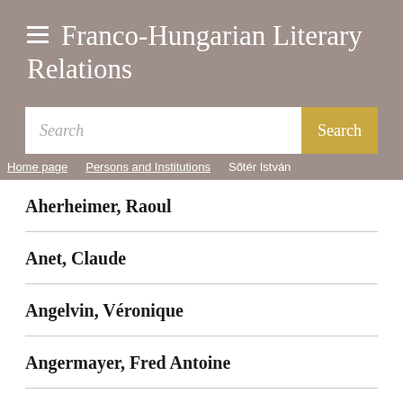Franco-Hungarian Literary Relations
Search | Home page | Persons and Institutions | Sőtér István
Aherheimer, Raoul
Anet, Claude
Angelvin, Véronique
Angermayer, Fred Antoine
Angioletti, G.B.